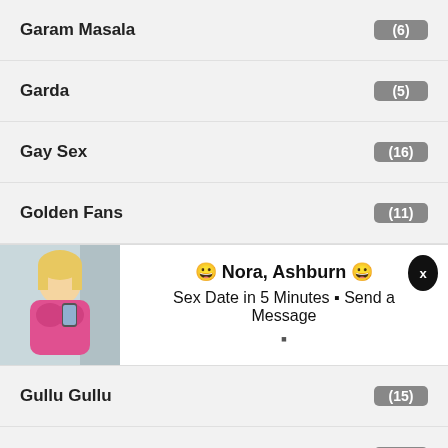Garam Masala (6)
Garda (5)
Gay Sex (16)
Golden Fans (11)
[Figure (photo): Advertisement banner with photo of blonde woman and text: 😊 Nora, Ashburn 😊 / Sex Date in 5 Minutes – Send a Message]
Gullu Gullu (15)
GupChup (88)
GV Studios (5)
Halkut (29)